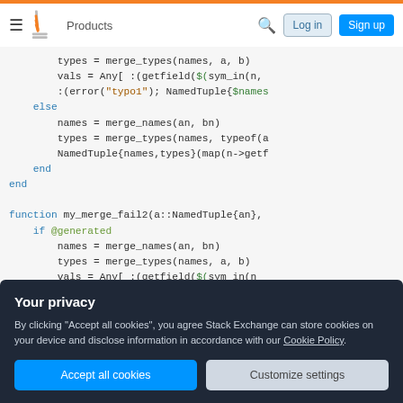≡  [Stack Overflow logo]  Products  🔍  Log in  Sign up
[Figure (screenshot): Code snippet showing Julia code with syntax highlighting: types = merge_types, vals = Any[:getfield, :error("typo1"); NamedTuple{$names, else block, names = merge_names, types = merge_types, NamedTuple, end, end, function my_merge_fail2(a::NamedTuple{an}, if @generated block, names = merge_names, types = merge_types, vals = Any[:getfield$(sym_in(n]
Your privacy
By clicking "Accept all cookies", you agree Stack Exchange can store cookies on your device and disclose information in accordance with our Cookie Policy.
Accept all cookies   Customize settings